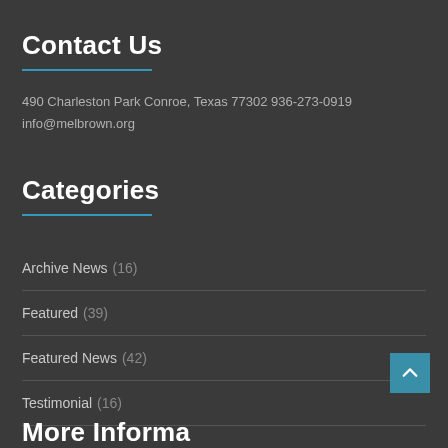Contact Us
490 Charleston Park Conroe, Texas 77302 936-273-0919
info@melbrown.org
Categories
Archive News (16)
Featured (39)
Featured News (42)
Testimonial (16)
More Information